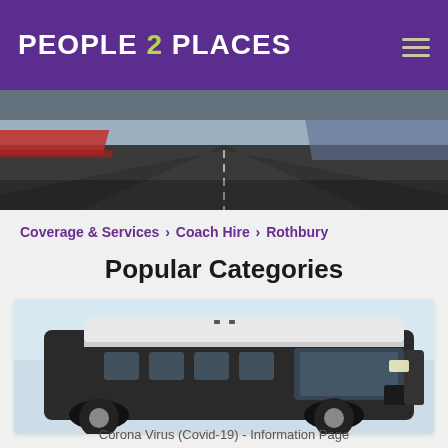PEOPLE 2 PLACES
[Figure (photo): Aerial highway road photo used as hero banner image]
Coverage & Services > Coach Hire > Rothbury
Popular Categories
[Figure (photo): Coach/bus vehicle front view against light blue sky background]
Corona Virus (Covid-19) - Information Page